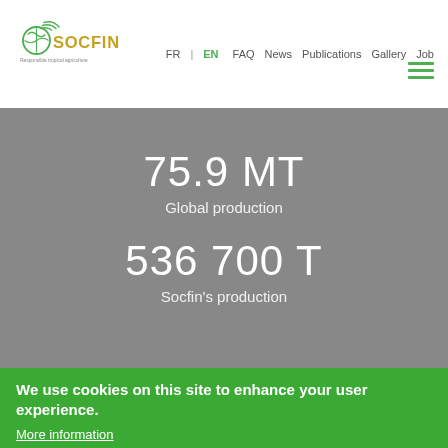[Figure (logo): SOCFIN logo with green globe/leaf icon and tagline 'Responsible tropical agriculture']
FR | EN | FAQ | News | Publications | Gallery | Job
75.9 MT
Global production
536 700 T
Socfin's production
We use cookies on this site to enhance your user experience.
More information
I agree  I disagree